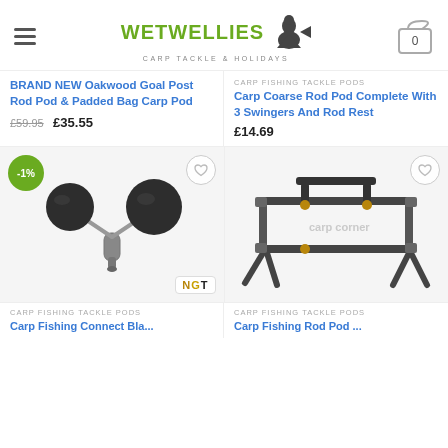[Figure (screenshot): Wet Wellies Carp Tackle & Holidays website header with hamburger menu, logo, and cart icon showing 0]
BRAND NEW Oakwood Goal Post Rod Pod & Padded Bag Carp Pod
£59.95  £35.55
CARP FISHING TACKLE PODS
Carp Coarse Rod Pod Complete With 3 Swingers And Rod Rest
£14.69
[Figure (photo): NGT branded carp fishing swinger or rod rests Y-shaped with two black balls on silver connector, -1% discount badge, wishlist heart button]
[Figure (photo): Carp fishing rod pod frame with adjustable legs and buzz bars, watermark carp corner, wishlist heart button]
CARP FISHING TACKLE PODS
Carp Fishing Connect Bla...
CARP FISHING TACKLE PODS
Carp Fishing Rod Pod...